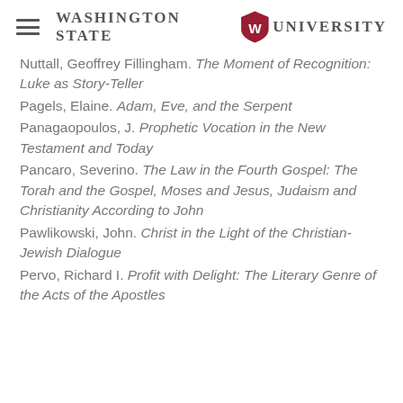Washington State University
Nuttall, Geoffrey Fillingham. The Moment of Recognition: Luke as Story-Teller
Pagels, Elaine. Adam, Eve, and the Serpent
Panagaopoulos, J. Prophetic Vocation in the New Testament and Today
Pancaro, Severino. The Law in the Fourth Gospel: The Torah and the Gospel, Moses and Jesus, Judaism and Christianity According to John
Pawlikowski, John. Christ in the Light of the Christian-Jewish Dialogue
Pervo, Richard I. Profit with Delight: The Literary Genre of the Acts of the Apostles